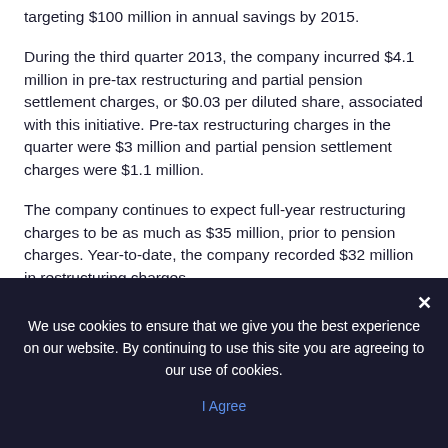targeting $100 million in annual savings by 2015.
During the third quarter 2013, the company incurred $4.1 million in pre-tax restructuring and partial pension settlement charges, or $0.03 per diluted share, associated with this initiative. Pre-tax restructuring charges in the quarter were $3 million and partial pension settlement charges were $1.1 million.
The company continues to expect full-year restructuring charges to be as much as $35 million, prior to pension charges. Year-to-date, the company recorded $32 million in restructuring charges.
We use cookies to ensure that we give you the best experience on our website. By continuing to use this site you are agreeing to our use of cookies. | I Agree